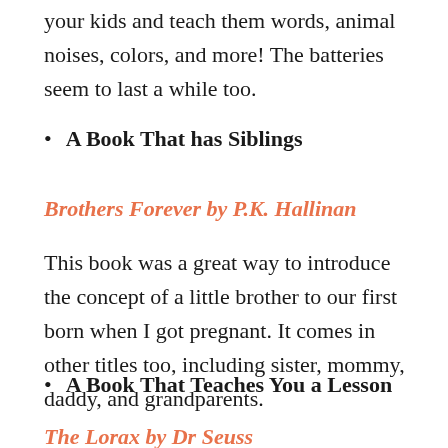your kids and teach them words, animal noises, colors, and more! The batteries seem to last a while too.
A Book That has Siblings
Brothers Forever by P.K. Hallinan
This book was a great way to introduce the concept of a little brother to our first born when I got pregnant. It comes in other titles too, including sister, mommy, daddy, and grandparents.
A Book That Teaches You a Lesson
The Lorax by Dr Seuss